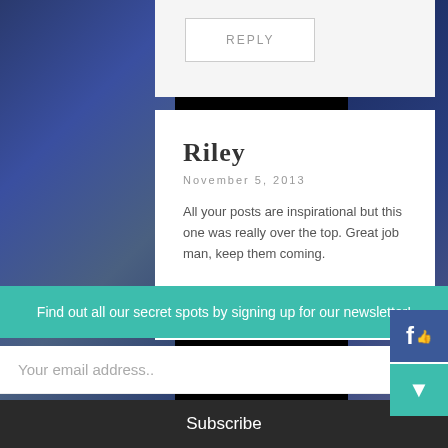[Figure (screenshot): Top section with a gray REPLY button on light gray background]
Riley
November 5, 2013
All your posts are inspirational but this one was really over the top. Great job man, keep them coming.
[Figure (screenshot): REPLY button for Riley's comment]
[Figure (screenshot): Partial Facebook and share social media icons on right side]
Find out all our secret spots by signing up for our newsletter!
Your email address..
Subscribe